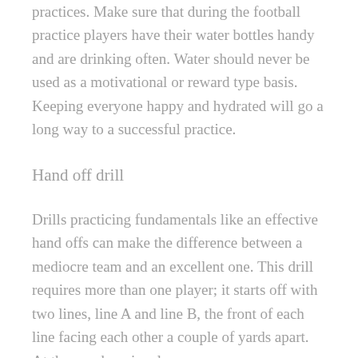practices. Make sure that during the football practice players have their water bottles handy and are drinking often. Water should never be used as a motivational or reward type basis. Keeping everyone happy and hydrated will go a long way to a successful practice.
Hand off drill
Drills practicing fundamentals like an effective hand offs can make the difference between a mediocre team and an excellent one. This drill requires more than one player; it starts off with two lines, line A and line B, the front of each line facing each other a couple of yards apart. At the coaches signal